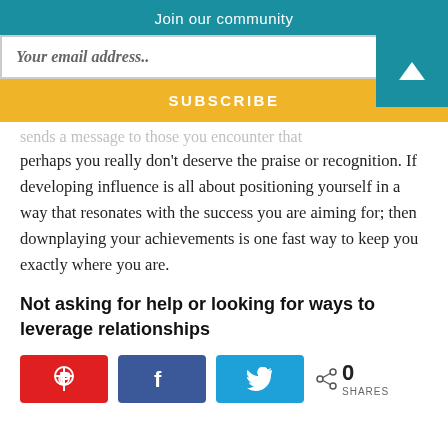Join our community
Your email address..
SUBSCRIBE
sends a message to those you encounter that perhaps you really don't deserve the praise or recognition. If developing influence is all about positioning yourself in a way that resonates with the success you are aiming for; then downplaying your achievements is one fast way to keep you exactly where you are.
Not asking for help or looking for ways to leverage relationships
[Figure (infographic): Social share buttons: Pinterest (red), Facebook (dark blue), Twitter (light blue), and a share count showing 0 SHARES]